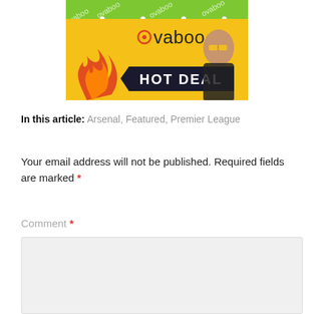[Figure (advertisement): Ovaboo HOT DEAL advertisement banner with yellow background, a woman in yellow glasses, fire graphic, and 'HOT DEAL' text. Green watermark pattern on top with repeated 'ovaboo' text.]
In this article: Arsenal, Featured, Premier League
Your email address will not be published. Required fields are marked *
Comment *